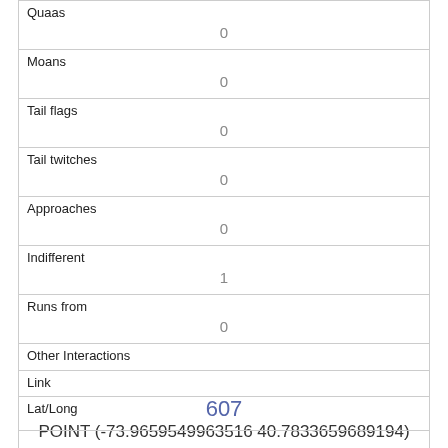| Quaas | 0 |
| Moans | 0 |
| Tail flags | 0 |
| Tail twitches | 0 |
| Approaches | 0 |
| Indifferent | 1 |
| Runs from | 0 |
| Other Interactions |  |
| Lat/Long | POINT (-73.9659549963516 40.7833659689194) |
| Link | 607 |